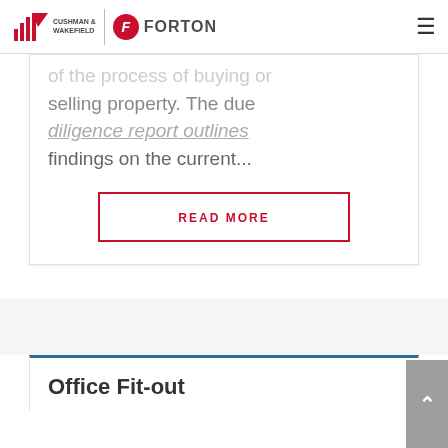Cushman & Wakefield | Forton
of the process of buying or selling property. The due diligence report outlines findings on the current...
READ MORE
Office Fit-out